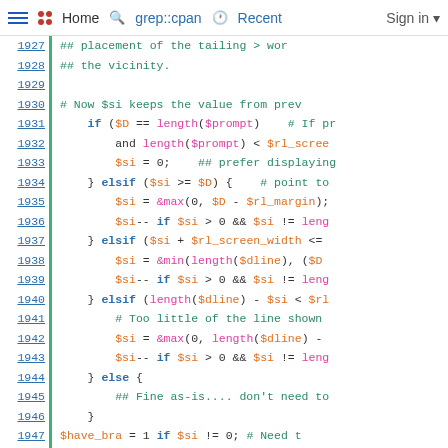Home  grep::cpan  Recent  Sign in
[Figure (screenshot): Perl source code viewer showing lines 1927-1953 with syntax highlighting. Line numbers on left, green vertical bar separator, code on right with keywords in blue, functions in pink, variables in orange, comments in teal.]